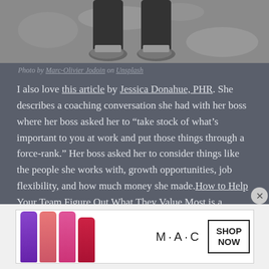[Figure (photo): A top-down photo of a person's feet/legs wearing dark pants and shoes standing on a rocky/gravelly surface]
Photo by Marc-Olivier Jodoin on Unsplash
I also love this article by Jessica Donahue, PHR. She describes a coaching conversation she had with her boss where her boss asked her to “take stock of what’s important to you at work and put those things through a force-rank.” Her boss asked her to consider things like the people she works with, growth opportunities, job flexibility, and how much money she made.How to Help Your Team Figure Out What They Value Most is a…
[Figure (photo): MAC cosmetics advertisement showing lipsticks and SHOP NOW call to action]